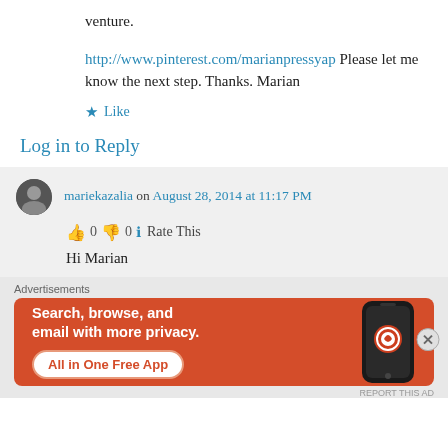venture.
http://www.pinterest.com/marianpressyap Please let me know the next step. Thanks. Marian
★ Like
Log in to Reply
mariekazalia on August 28, 2014 at 11:17 PM
👍 0 👎 0 ℹ Rate This
Hi Marian
Advertisements
[Figure (screenshot): DuckDuckGo advertisement banner: 'Search, browse, and email with more privacy. All in One Free App' with DuckDuckGo logo on a phone]